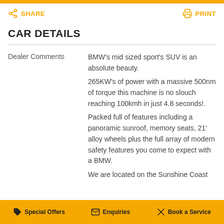SHARE | PRINT
CAR DETAILS
|  |  |
| --- | --- |
| Dealer Comments | BMW's mid sized sport's SUV is an absolute beauty.
265KW's of power with a massive 500nm of torque this machine is no slouch reaching 100kmh in just 4.8 seconds!.
Packed full of features including a panoramic sunroof, memory seats, 21' alloy wheels plus the full array of modern safety features you come to expect with a BMW.

We are located on the Sunshine Coast |
Special Offers | Enquiries | Book a Service